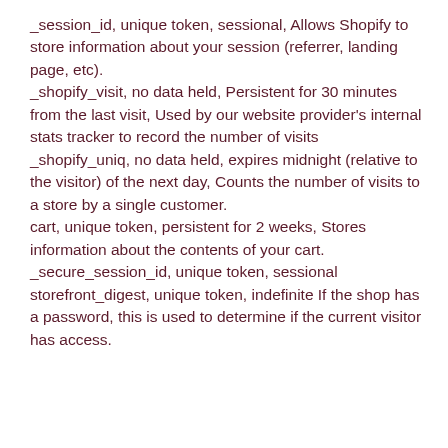_session_id, unique token, sessional, Allows Shopify to store information about your session (referrer, landing page, etc).
_shopify_visit, no data held, Persistent for 30 minutes from the last visit, Used by our website provider's internal stats tracker to record the number of visits
_shopify_uniq, no data held, expires midnight (relative to the visitor) of the next day, Counts the number of visits to a store by a single customer.
cart, unique token, persistent for 2 weeks, Stores information about the contents of your cart.
_secure_session_id, unique token, sessional
storefront_digest, unique token, indefinite If the shop has a password, this is used to determine if the current visitor has access.